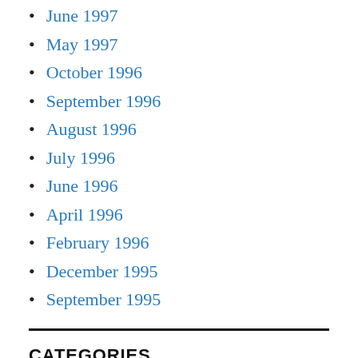June 1997
May 1997
October 1996
September 1996
August 1996
July 1996
June 1996
April 1996
February 1996
December 1995
September 1995
CATEGORIES
Commentary